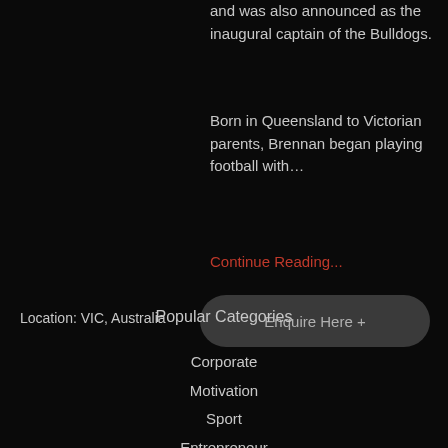and was also announced as the inaugural captain of the Bulldogs.
Born in Queensland to Victorian parents, Brennan began playing football with…
Continue Reading...
Location: VIC, Australia
Enquire Here +
Popular Categories
Corporate
Motivation
Sport
Entrepreneur